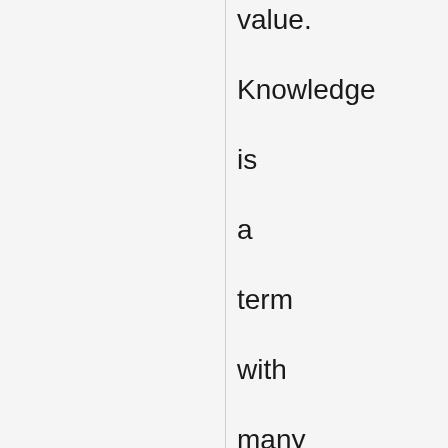value. Knowledge is a term with many meanings depending on context, but is (as a